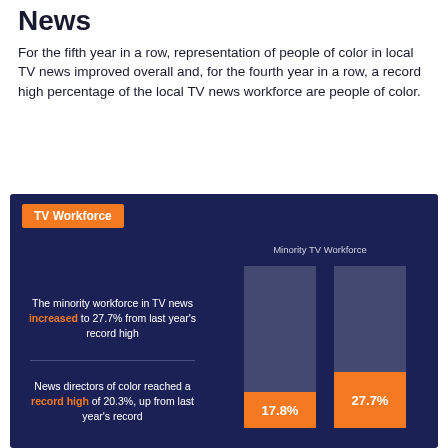News
For the fifth year in a row, representation of people of color in local TV news improved overall and, for the fourth year in a row, a record high percentage of the local TV news workforce are people of color.
[Figure (bar-chart): Minority TV Workforce]